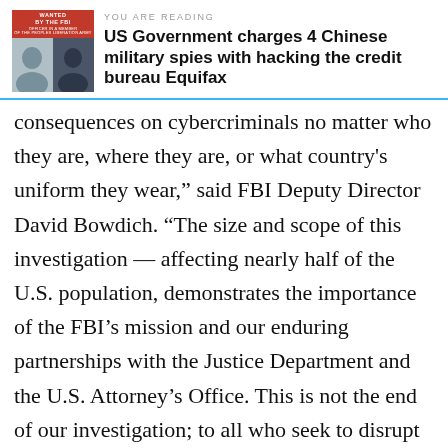YOU ARE READING
US Government charges 4 Chinese military spies with hacking the credit bureau Equifax
consequences on cybercriminals no matter who they are, where they are, or what country's uniform they wear," said FBI Deputy Director David Bowdich. “The size and scope of this investigation — affecting nearly half of the U.S. population, demonstrates the importance of the FBI’s mission and our enduring partnerships with the Justice Department and the U.S. Attorney’s Office. This is not the end of our investigation; to all who seek to disrupt the safety, security and confidence of the global citizenry in this digitally connected world, this